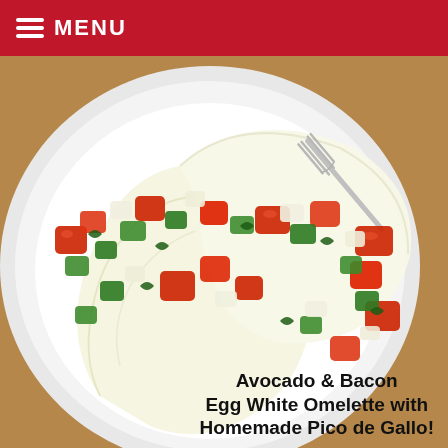MENU
[Figure (photo): A white plate with a folded egg white omelette topped with colorful homemade pico de gallo featuring diced red tomatoes, green peppers, white onion, and fresh cilantro. A silver fork is visible in the background. The plate sits on a wooden surface.]
Avocado & Bacon Egg White Omelette with Homemade Pico de Gallo!